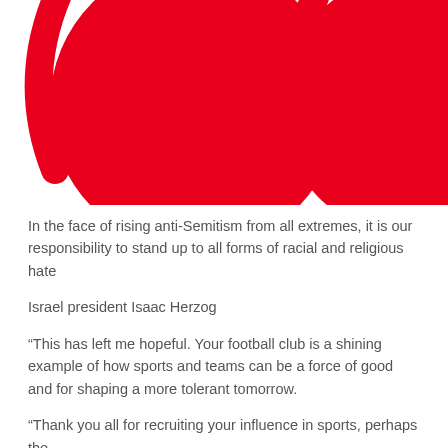[Figure (illustration): Two large red quotation mark circles (opening double quotation marks) rendered as bold red circular graphic elements with curved tails, cropped at the top of the page]
In the face of rising anti-Semitism from all extremes, it is our responsibility to stand up to all forms of racial and religious hate
Israel president Isaac Herzog
“This has left me hopeful. Your football club is a shining example of how sports and teams can be a force of good and for shaping a more tolerant tomorrow.
“Thank you all for recruiting your influence in sports, perhaps the